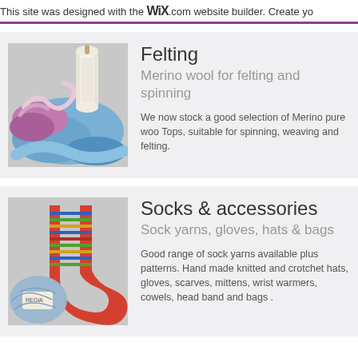This site was designed with the WIX.com website builder. Create yo
Felting
Merino wool for felting and spinning
We now stock a good selection of Merino pure woo Tops, suitable for spinning, weaving and felting.
[Figure (photo): Photo of yarn and thread spools — blue, pink, purple twisted wool and a white thread spool]
Socks & accessories
Sock yarns, gloves, hats & bags
Good range of sock yarns available plus patterns. Hand made knitted and crotchet hats, gloves, scarves, mittens, wrist warmers, cowels, head band and bags .
[Figure (photo): Photo of colorful knitted socks and a ball of sock yarn with a label]